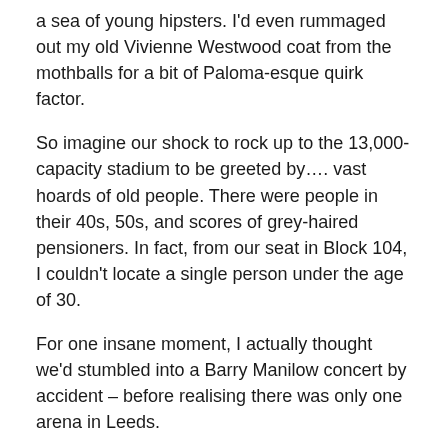a sea of young hipsters. I'd even rummaged out my old Vivienne Westwood coat from the mothballs for a bit of Paloma-esque quirk factor.
So imagine our shock to rock up to the 13,000-capacity stadium to be greeted by…. vast hoards of old people. There were people in their 40s, 50s, and scores of grey-haired pensioners. In fact, from our seat in Block 104, I couldn't locate a single person under the age of 30.
For one insane moment, I actually thought we'd stumbled into a Barry Manilow concert by accident – before realising there was only one arena in Leeds.
[Figure (photo): Dark concert arena photo showing a dimly lit stage with a bright spotlight and a large crowd visible in the background]